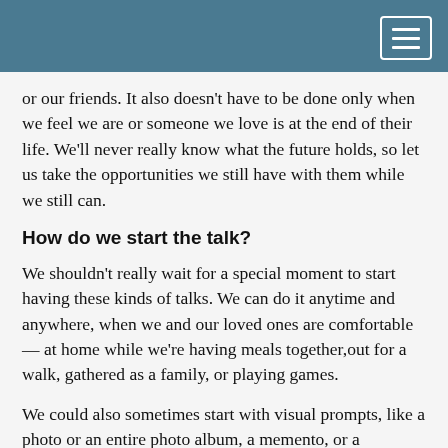or our friends. It also doesn’t have to be done only when we feel we are or someone we love is at the end of their life. We’ll never really know what the future holds, so let us take the opportunities we still have with them while we still can.
How do we start the talk?
We shouldn’t really wait for a special moment to start having these kinds of talks. We can do it anytime and anywhere, when we and our loved ones are comfortable — at home while we’re having meals together,out for a walk, gathered as a family, or playing games.
We could also sometimes start with visual prompts, like a photo or an entire photo album, a memento, or a souvenir. We can open up about past experiences